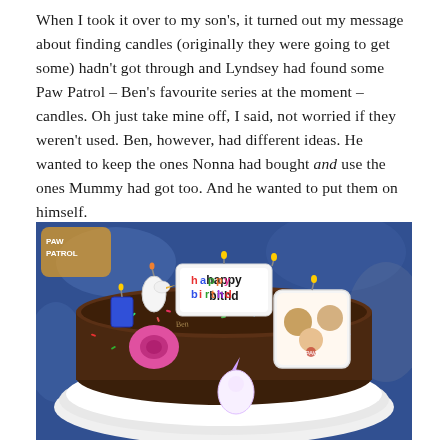When I took it over to my son's, it turned out my message about finding candles (originally they were going to get some) hadn't got through and Lyndsey had found some Paw Patrol – Ben's favourite series at the moment – candles. Oh just take mine off, I said, not worried if they weren't used. Ben, however, had different ideas. He wanted to keep the ones Nonna had bought and use the ones Mummy had got too. And he wanted to put them on himself.
[Figure (photo): A birthday cake with chocolate frosting and colourful sprinkles on a white plate, decorated with multiple candles including a large 'happy birthday' candle and a Paw Patrol character candle, plus several smaller novelty candles. The cake is set against a blue Paw Patrol themed party backdrop.]